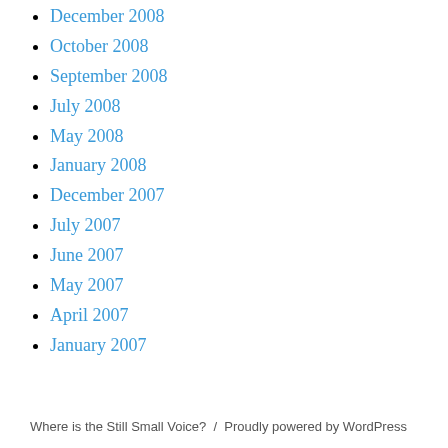December 2008
October 2008
September 2008
July 2008
May 2008
January 2008
December 2007
July 2007
June 2007
May 2007
April 2007
January 2007
Where is the Still Small Voice?  /  Proudly powered by WordPress